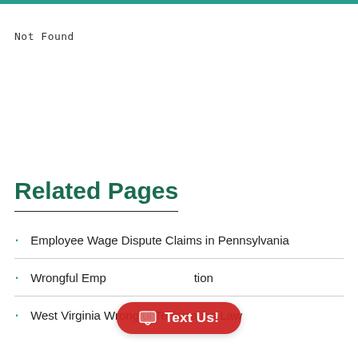Not Found
Related Pages
Employee Wage Dispute Claims in Pennsylvania
Wrongful Employment Termination
West Virginia Wrongful Termination Law